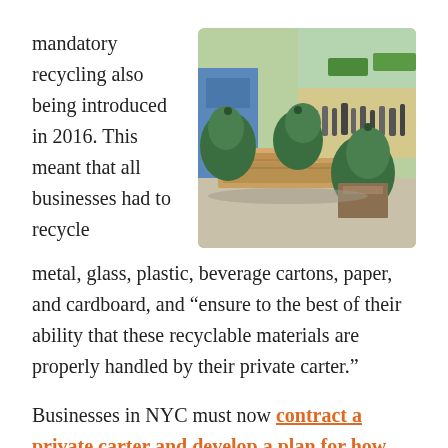mandatory recycling also being introduced in 2016. This meant that all businesses had to recycle
[Figure (photo): Street scene showing large green garbage bags and flattened cardboard boxes piled on a sidewalk, with people and storefronts visible in the background.]
metal, glass, plastic, beverage cartons, paper, and cardboard, and “ensure to the best of their ability that these recyclable materials are properly handled by their private carter.”
Businesses in NYC must now contract a private carter and develop a plan for how waste will be